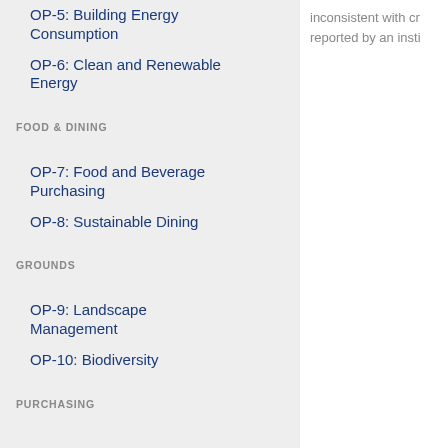OP-5: Building Energy Consumption
OP-6: Clean and Renewable Energy
FOOD & DINING
OP-7: Food and Beverage Purchasing
OP-8: Sustainable Dining
GROUNDS
OP-9: Landscape Management
OP-10: Biodiversity
PURCHASING
inconsistent with cr reported by an insti